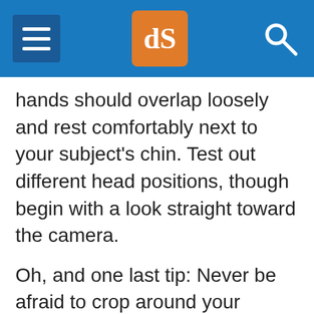dPS navigation header with menu, logo, and search
hands should overlap loosely and rest comfortably next to your subject's chin. Test out different head positions, though begin with a look straight toward the camera.
Oh, and one last tip: Never be afraid to crop around your model's face!
[Figure (illustration): Partial line drawing illustration showing curved lines suggesting a person's shoulders/neck area, cropped at bottom of visible area. A close button (×) is visible in the lower right.]